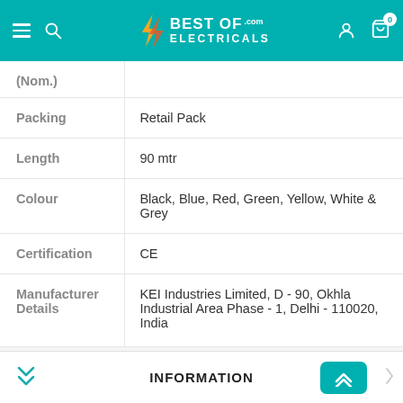Best of Electricals .com
| Attribute | Value |
| --- | --- |
| (Nom.) |  |
| Packing | Retail Pack |
| Length | 90 mtr |
| Colour | Black, Blue, Red, Green, Yellow, White & Grey |
| Certification | CE |
| Manufacturer Details | KEI Industries Limited, D - 90, Okhla Industrial Area Phase - 1, Delhi - 110020, India |
INFORMATION